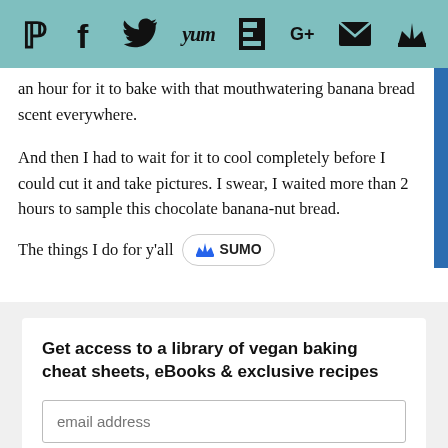[Figure (other): Social media sharing icon bar with teal background showing Pinterest, Facebook, Twitter, Yummly, Flipboard, Google+, Email, and crown icons]
an hour for it to bake with that mouthwatering banana bread scent everywhere.
And then I had to wait for it to cool completely before I could cut it and take pictures. I swear, I waited more than 2 hours to sample this chocolate banana-nut bread.
The things I do for y'all
[Figure (logo): SUMO logo pill badge with crown icon]
Get access to a library of vegan baking cheat sheets, eBooks & exclusive recipes
email address
SUBSCRIBE